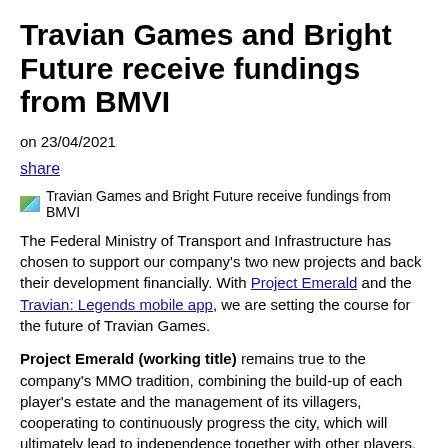Travian Games and Bright Future receive fundings from BMVI
on 23/04/2021
share
[Figure (photo): Travian Games and Bright Future receive fundings from BMVI — article header image]
The Federal Ministry of Transport and Infrastructure has chosen to support our company's two new projects and back their development financially. With Project Emerald and the Travian: Legends mobile app, we are setting the course for the future of Travian Games.
Project Emerald (working title) remains true to the company's MMO tradition, combining the build-up of each player's estate and the management of its villagers, cooperating to continuously progress the city, which will ultimately lead to independence together with other players. Set in the Caribbean of the 16th-18th